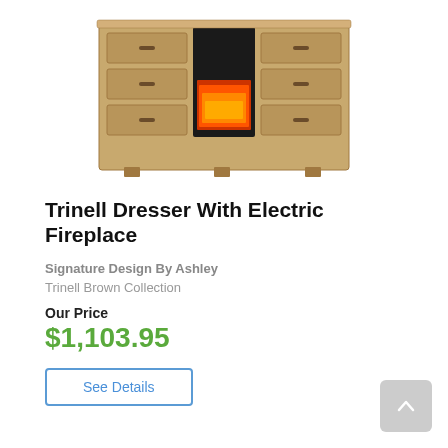[Figure (photo): A Trinell dresser with electric fireplace insert — brown wood finish with multiple drawers on each side and a glowing orange fireplace in the center compartment.]
Trinell Dresser With Electric Fireplace
Signature Design By Ashley
Trinell Brown Collection
Our Price
$1,103.95
See Details